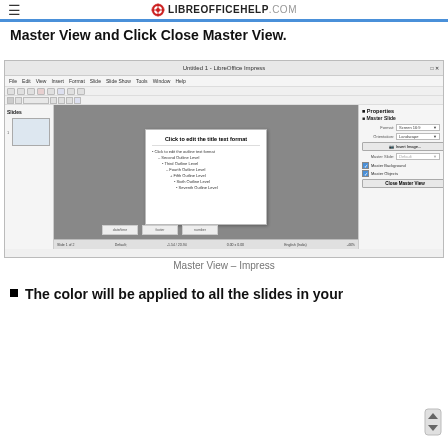≡ LIBREOFFICEHELP.COM
Master View and Click Close Master View.
[Figure (screenshot): LibreOffice Impress screenshot showing Master View with slide panel on the left, main editing area in the center with a slide showing outline text format placeholders, and Properties panel on the right with Master Slide settings including Format: Screen 16:9, Orientation: Landscape, Insert Image button, Master Slide: Default, Master Background checkbox, Master Objects checkbox, and Close Master View button.]
Master View – Impress
The color will be applied to all the slides in your